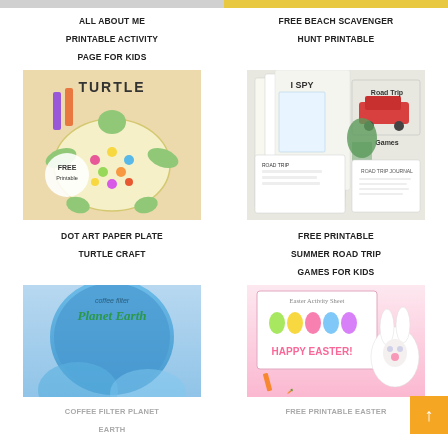[Figure (illustration): Partial top image for All About Me Printable Activity Page for Kids]
ALL ABOUT ME PRINTABLE ACTIVITY PAGE FOR KIDS
[Figure (illustration): Partial top image for Free Beach Scavenger Hunt Printable]
FREE BEACH SCAVENGER HUNT PRINTABLE
[Figure (photo): Dot art paper plate turtle craft with colorful dot stickers on a paper plate turtle shape, with crayons and FREE Printable badge]
DOT ART PAPER PLATE TURTLE CRAFT
[Figure (photo): Collection of free printable summer road trip games for kids including I Spy, scavenger hunt, maze, and activity sheets]
FREE PRINTABLE SUMMER ROAD TRIP GAMES FOR KIDS
[Figure (photo): Coffee filter Planet Earth craft with blue watercolor painted coffee filters arranged as Earth]
COFFEE FILTER PLANET EARTH
[Figure (photo): Free printable Easter activity sheet with Easter bunny, colorful peeps, and Happy Easter text on pink background]
FREE PRINTABLE EASTER